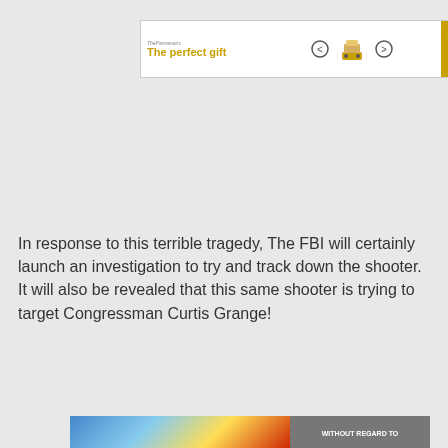[Figure (other): Advertisement banner: 'The perfect gift' with food imagery, navigation arrows, and '35% OFF + FREE SHIPPING' in gold box]
In response to this terrible tragedy, The FBI will certainly launch an investigation to try and track down the shooter. It will also be revealed that this same shooter is trying to target Congressman Curtis Grange!
[Figure (other): Advertisement: 'DISCOVER AMAZING TRAVEL SIDESTAGE.COM' with Yosemite mountain images on both sides]
[Figure (other): Advertisement with colorful airplane image and text 'WITHOUT REGARD TO']